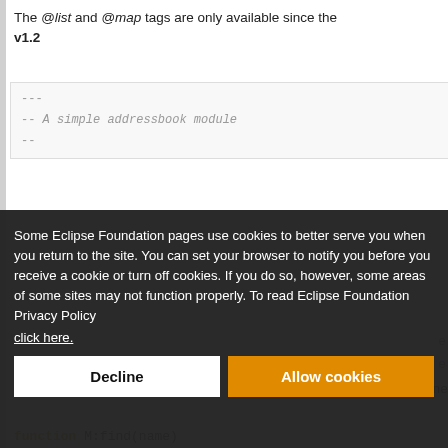The @list and @map tags are only available since the v1.2
[Figure (screenshot): Code block showing Lua comment lines: --- / -- A simple addressbook module / --]
Some Eclipse Foundation pages use cookies to better serve you when you return to the site. You can set your browser to notify you before you receive a cookie or turn off cookies. If you do so, however, some areas of some sites may not function properly. To read Eclipse Foundation Privacy Policy click here.
= phone
[Figure (screenshot): Cookie consent overlay with Decline and Allow cookies buttons]
function M:find(name)